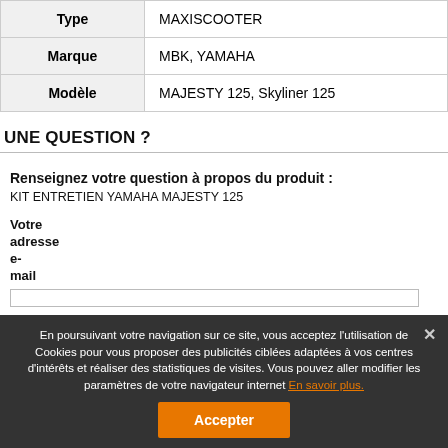| Type | Modèle |
| --- | --- |
| Type | MAXISCOOTER |
| Marque | MBK, YAMAHA |
| Modèle | MAJESTY 125, Skyliner 125 |
UNE QUESTION ?
Renseignez votre question à propos du produit : KIT ENTRETIEN YAMAHA MAJESTY 125
Votre adresse e-mail
En poursuivant votre navigation sur ce site, vous acceptez l'utilisation de Cookies pour vous proposer des publicités ciblées adaptées à vos centres d'intérêts et réaliser des statistiques de visites. Vous pouvez aller modifier les paramètres de votre navigateur internet En savoir plus.